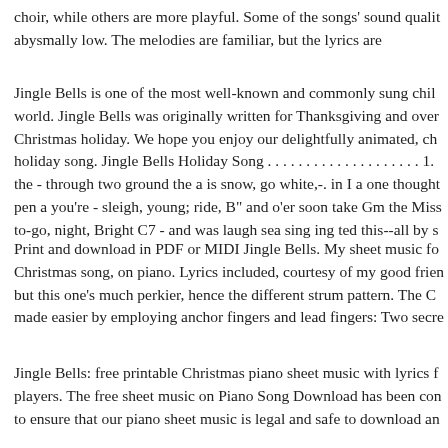choir, while others are more playful. Some of the songs' sound qualit abysmally low. The melodies are familiar, but the lyrics are
Jingle Bells is one of the most well-known and commonly sung chil world. Jingle Bells was originally written for Thanksgiving and over Christmas holiday. We hope you enjoy our delightfully animated, ch holiday song. Jingle Bells Holiday Song . . . . . . . . . . . . . . . . . . . . 1. the - through two ground the a is snow, go white,-. in I a one thought pen a you're - sleigh, young; ride, B" and o'er soon take Gm the Miss to-go, night, Bright C7 - and was laugh sea sing ing ted this--all by s
Print and download in PDF or MIDI Jingle Bells. My sheet music fo Christmas song, on piano. Lyrics included, courtesy of my good frien but this one's much perkier, hence the different strum pattern. The C made easier by employing anchor fingers and lead fingers: Two secre
Jingle Bells: free printable Christmas piano sheet music with lyrics f players. The free sheet music on Piano Song Download has been con to ensure that our piano sheet music is legal and safe to download an